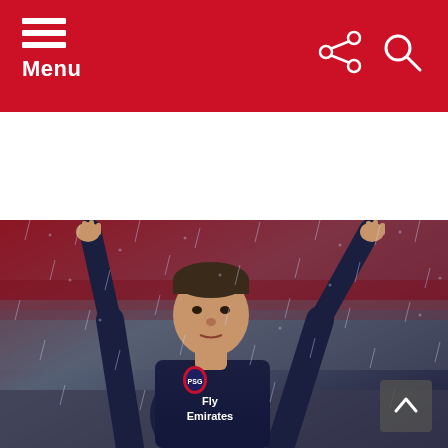Menu
[Figure (photo): A PSG football player wearing a dark navy blue Fly Emirates jersey with both arms raised in celebration, photographed in rainy conditions at a stadium with red stands visible in the background.]